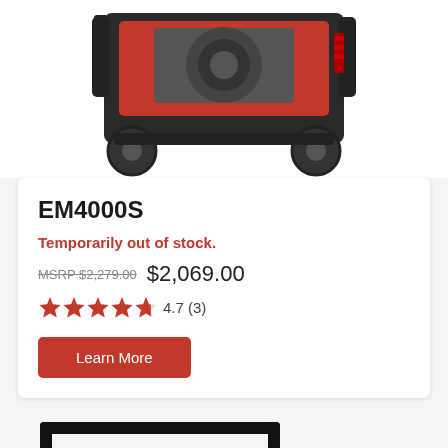[Figure (photo): Honda EM4000S portable generator with wheels, black frame and red accents, top portion visible]
EM4000S
Temporarily out of stock.
MSRP $2,279.00  $2,069.00
4.7 (3) stars rating
Learn More
[Figure (photo): Honda EM5000SX portable generator, red and black, bottom portion visible with HONDA and EM5000SX labels]